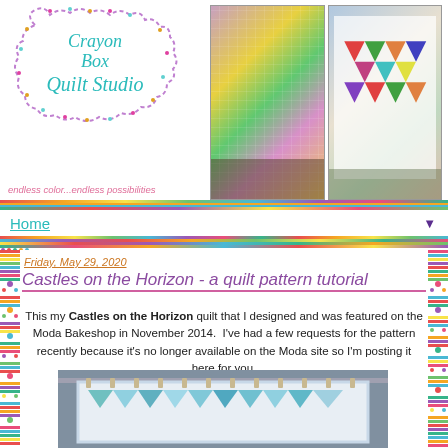[Figure (logo): Crayon Box Quilt Studio logo in a cloud/scallop shape with teal text]
[Figure (photo): Two photos of quilts hanging outdoors]
endless color...endless possibilities
Home
Friday, May 29, 2020
Castles on the Horizon - a quilt pattern tutorial
This my Castles on the Horizon quilt that I designed and was featured on the Moda Bakeshop in November 2014. I've had a few requests for the pattern recently because it's no longer available on the Moda site so I'm posting it here for you.
[Figure (photo): Photo of a quilt with triangles hanging on a rack outdoors, blue and teal colors]